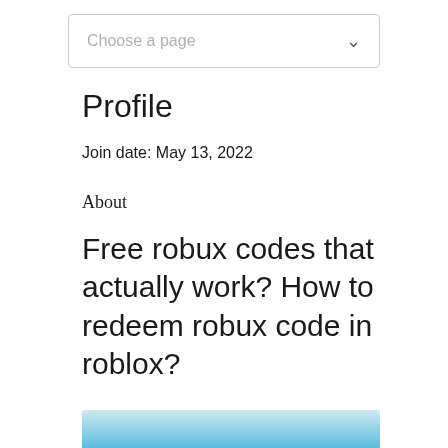[Figure (screenshot): Dropdown menu UI element with placeholder text 'Choose a page' and a chevron icon on the right]
Profile
Join date: May 13, 2022
About
Free robux codes that actually work? How to redeem robux code in roblox?
[Figure (photo): Partial blue gradient image strip at bottom of page]